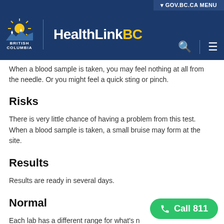HealthLinkBC | GOV.BC.CA MENU
When a blood sample is taken, you may feel nothing at all from the needle. Or you might feel a quick sting or pinch.
Risks
There is very little chance of having a problem from this test. When a blood sample is taken, a small bruise may form at the site.
Results
Results are ready in several days.
Normal
Each lab has a different range for what's n…